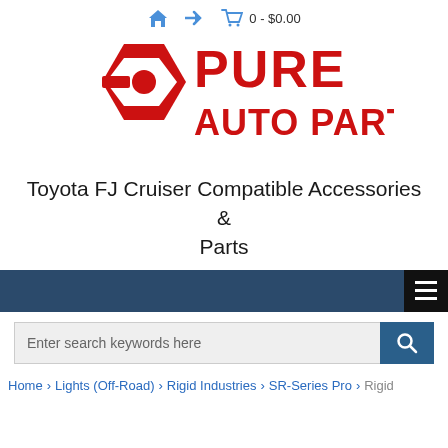🏠 → 🛒 0 - $0.00
[Figure (logo): Pure Auto Parts logo — red hexagon icon with 'PURE AUTO PARTS' text in red]
Toyota FJ Cruiser Compatible Accessories & Parts
[Figure (screenshot): Dark blue navigation bar with hamburger menu button on right]
[Figure (screenshot): Search bar with 'Enter search keywords here' placeholder and blue search button]
Home > Lights (Off-Road) > Rigid Industries > SR-Series Pro > Rigid